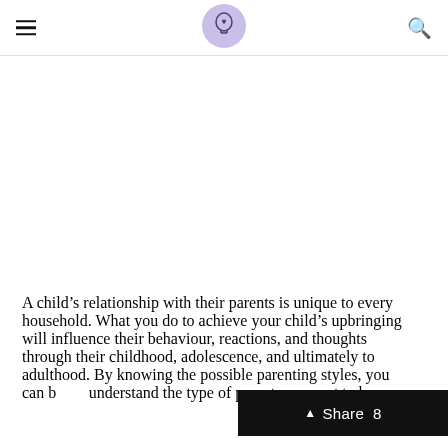☰ [logo] 🔍
[Figure (illustration): White blank area representing an image placeholder below the site navigation header]
A child's relationship with their parents is unique to every household. What you do to achieve your child's upbringing will influence their behaviour, reactions, and thoughts through their childhood, adolescence, and ultimately to adulthood. By knowing the possible parenting styles, you can better understand the type of parent you want to be.
Share 8